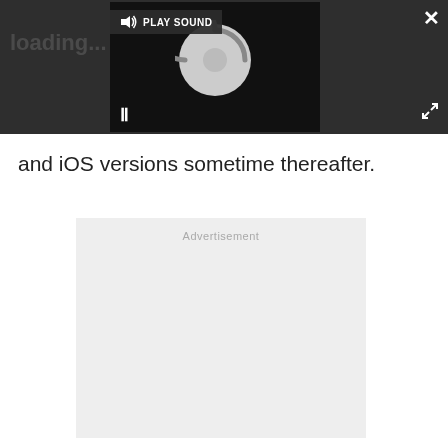[Figure (screenshot): Video player overlay with dark background, showing a loading spinner circle, PLAY SOUND button in top-left, pause button (II) at bottom-left, close (X) button at top-right, and expand icon at bottom-right.]
and iOS versions sometime thereafter.
Advertisement